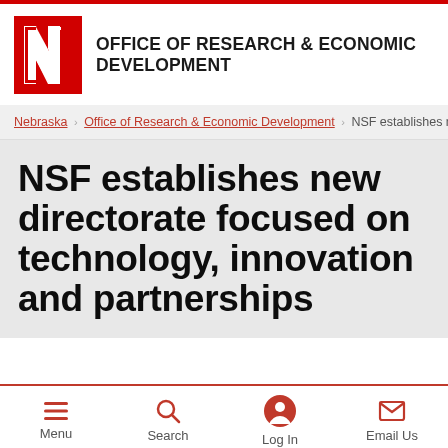OFFICE OF RESEARCH & ECONOMIC DEVELOPMENT
Nebraska › Office of Research & Economic Development › NSF establishes new
NSF establishes new directorate focused on technology, innovation and partnerships
Menu  Search  Log In  Email Us